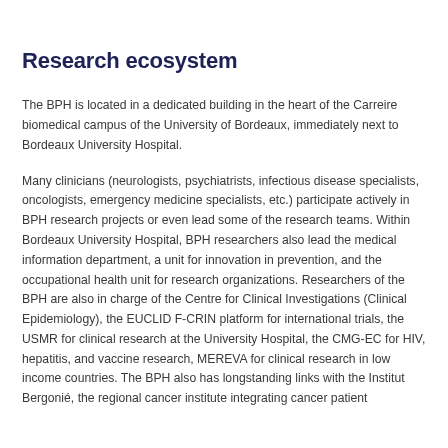Research ecosystem
The BPH is located in a dedicated building in the heart of the Carreire biomedical campus of the University of Bordeaux, immediately next to Bordeaux University Hospital.
Many clinicians (neurologists, psychiatrists, infectious disease specialists, oncologists, emergency medicine specialists, etc.) participate actively in BPH research projects or even lead some of the research teams. Within Bordeaux University Hospital, BPH researchers also lead the medical information department, a unit for innovation in prevention, and the occupational health unit for research organizations. Researchers of the BPH are also in charge of the Centre for Clinical Investigations (Clinical Epidemiology), the EUCLID F-CRIN platform for international trials, the USMR for clinical research at the University Hospital, the CMG-EC for HIV, hepatitis, and vaccine research, MEREVA for clinical research in low income countries. The BPH also has longstanding links with the Institut Bergonié, the regional cancer institute integrating cancer patient